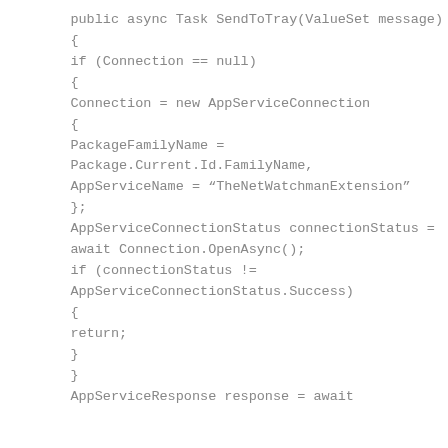public async Task SendToTray(ValueSet message)
{
if (Connection == null)
{
Connection = new AppServiceConnection
{
PackageFamilyName =
Package.Current.Id.FamilyName,
AppServiceName = "TheNetWatchmanExtension"
};
AppServiceConnectionStatus connectionStatus =
await Connection.OpenAsync();
if (connectionStatus !=
AppServiceConnectionStatus.Success)
{
return;
}
}
AppServiceResponse response = await